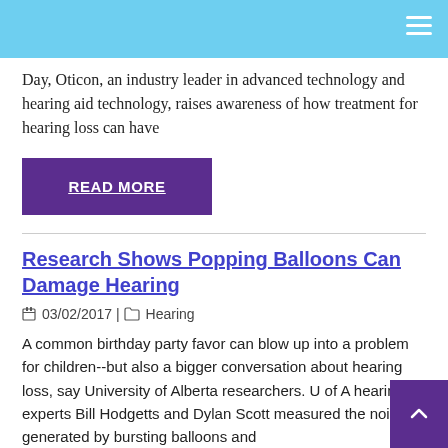Day, Oticon, an industry leader in advanced technology and hearing aid technology, raises awareness of how treatment for hearing loss can have
READ MORE
Research Shows Popping Balloons Can Damage Hearing
03/02/2017 | Hearing
A common birthday party favor can blow up into a problem for children--but also a bigger conversation about hearing loss, say University of Alberta researchers. U of A hearing experts Bill Hodgetts and Dylan Scott measured the noise generated by bursting balloons and